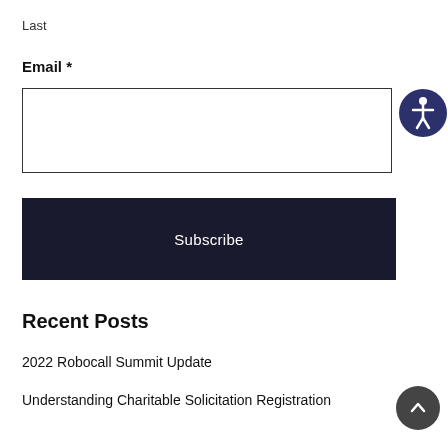Last
Email *
[Figure (screenshot): Empty email input text field with border]
Subscribe
[Figure (logo): Accessibility icon - circular dark blue button with person/accessibility symbol]
Recent Posts
2022 Robocall Summit Update
Understanding Charitable Solicitation Registration
[Figure (other): Back to top button - dark circular arrow up button]